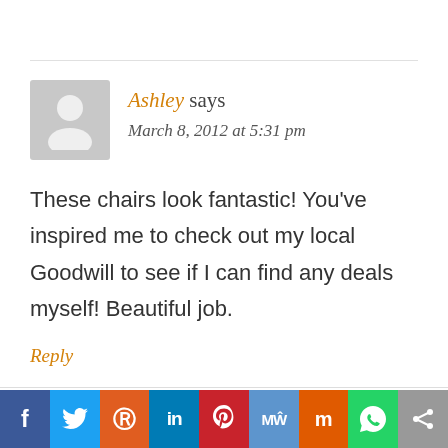Ashley says
March 8, 2012 at 5:31 pm
These chairs look fantastic! You've inspired me to check out my local Goodwill to see if I can find any deals myself! Beautiful job.
Reply